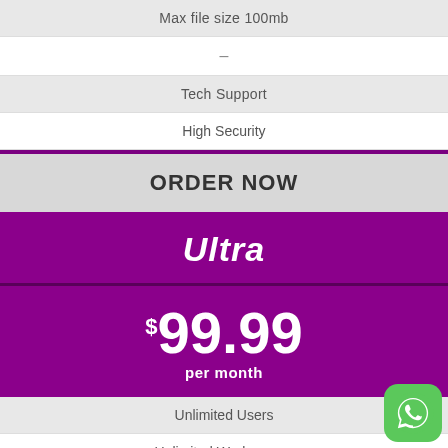Max file size 100mb
–
Tech Support
High Security
ORDER NOW
Ultra
$99.99 per month
Unlimited Users
Unlimited Workspaces
40 Clients